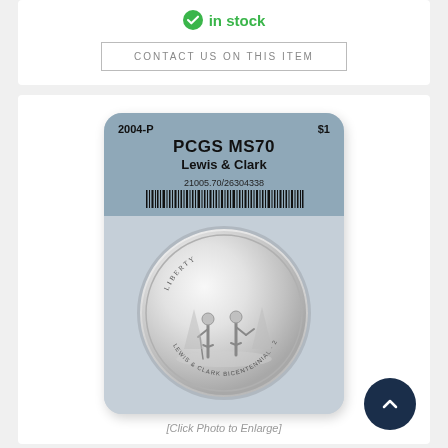in stock
CONTACT US ON THIS ITEM
[Figure (photo): PCGS graded coin slab containing a 2004-P $1 Lewis & Clark commemorative silver dollar graded MS70, serial number 21005.70/26304338, with barcode. Coin shows two figures (Lewis and Clark) standing.]
[Click Photo to Enlarge]